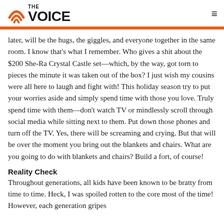THE VOICE
later, will be the hugs, the giggles, and everyone together in the same room.  I know that's what I remember.  Who gives a shit about the $200 She-Ra Crystal Castle set—which, by the way, got torn to pieces the minute it was taken out of the box?  I just wish my cousins were all here to laugh and fight with!  This holiday season try to put your worries aside and simply spend time with those you love.  Truly spend time with them—don't watch TV or mindlessly scroll through social media while sitting next to them.  Put down those phones and turn off the TV.  Yes, there will be screaming and crying.  But that will be over the moment you bring out the blankets and chairs.  What are you going to do with blankets and chairs? Build a fort, of course!
Reality Check
Throughout generations, all kids have been known to be bratty from time to time.  Heck, I was spoiled rotten to the core most of the time!  However, each generation gripes